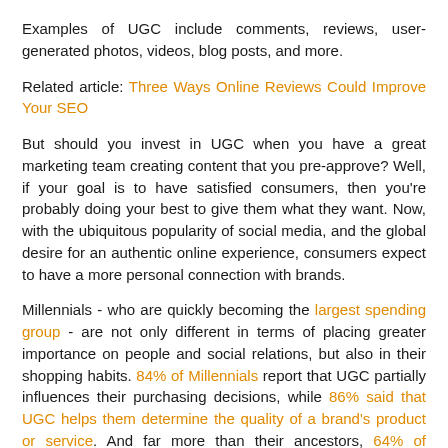Examples of UGC include comments, reviews, user-generated photos, videos, blog posts, and more.
Related article: Three Ways Online Reviews Could Improve Your SEO
But should you invest in UGC when you have a great marketing team creating content that you pre-approve? Well, if your goal is to have satisfied consumers, then you're probably doing your best to give them what they want. Now, with the ubiquitous popularity of social media, and the global desire for an authentic online experience, consumers expect to have a more personal connection with brands.
Millennials - who are quickly becoming the largest spending group - are not only different in terms of placing greater importance on people and social relations, but also in their shopping habits. 84% of Millennials report that UGC partially influences their purchasing decisions, while 86% said that UGC helps them determine the quality of a brand's product or service. And far more than their ancestors, 64% of Millennials (vs 53% Baby Boomers) believe communication